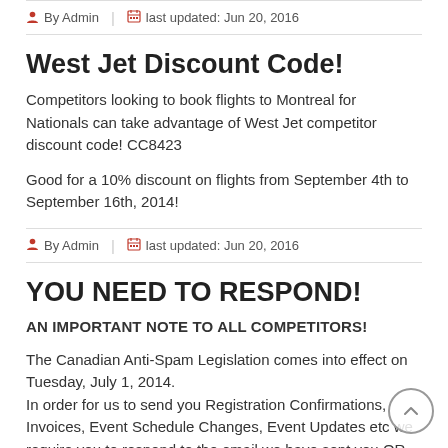By Admin | last updated: Jun 20, 2016
West Jet Discount Code!
Competitors looking to book flights to Montreal for Nationals can take advantage of West Jet competitor discount code! CC8423
Good for a 10% discount on flights from September 4th to September 16th, 2014!
By Admin | last updated: Jun 20, 2016
YOU NEED TO RESPOND!
AN IMPORTANT NOTE TO ALL COMPETITORS!
The Canadian Anti-Spam Legislation comes into effect on Tuesday, July 1, 2014.
In order for us to send you Registration Confirmations, Invoices, Event Schedule Changes, Event Updates etc we require you to respond to the email we have sent you OR update your Competitor Profile.  This is extremely important as we don't want you to not be informed if there is